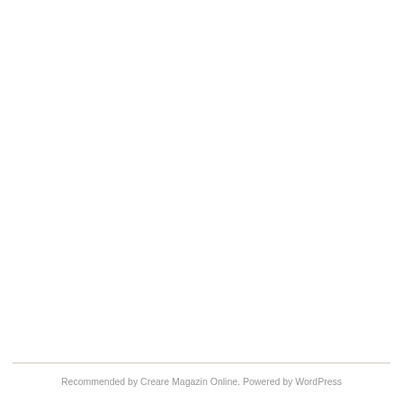Recommended by Creare Magazin Online. Powered by WordPress